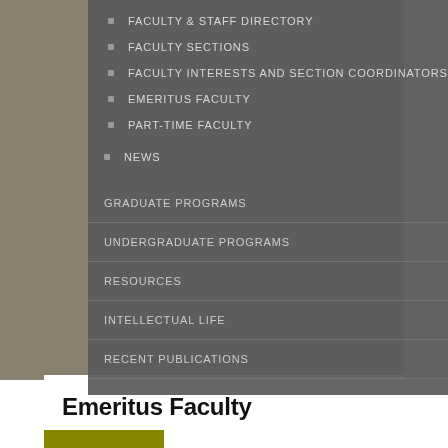FACULTY & STAFF DIRECTORY
FACULTY SECTIONS
FACULTY INTERESTS AND SECTION COORDINATORS
EMERITUS FACULTY
PART-TIME FACULTY
NEWS
GRADUATE PROGRAMS
UNDERGRADUATE PROGRAMS
RESOURCES
INTELLECTUAL LIFE
RECENT PUBLICATIONS
Emeritus Faculty